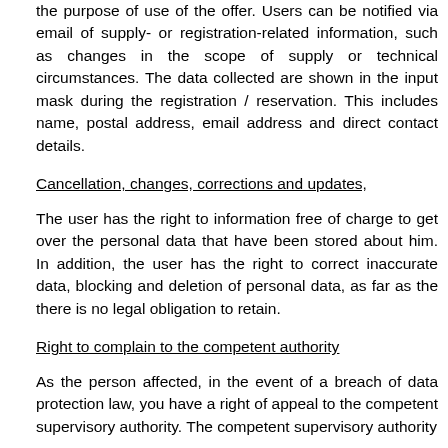the purpose of use of the offer.  Users can be notified via email of supply- or registration-related information, such as changes in the scope of supply or technical circumstances.  The data collected are shown in the input mask during the registration / reservation.  This includes name, postal address, email address and direct contact details.
Cancellation, changes, corrections and updates,
The user has the right to information free of charge to get over the personal data that have been stored about him.  In addition, the user has the right to correct inaccurate data, blocking and deletion of personal data, as far as the there is no legal obligation to retain.
Right to complain to the competent authority
As the person affected, in the event of a breach of data protection law, you have a right of appeal to the competent supervisory authority. The competent supervisory authority